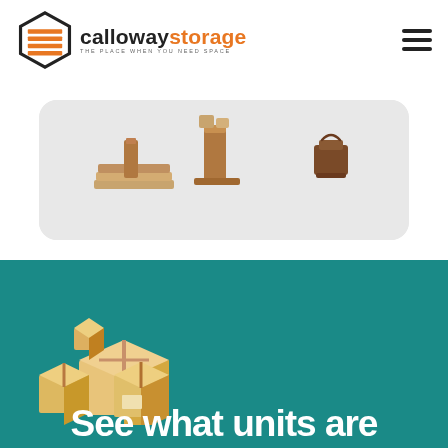[Figure (logo): Calloway Storage logo with hexagon icon containing orange shelves, company name in black and orange, tagline 'THE PLACE WHEN YOU NEED SPACE']
[Figure (illustration): Navigation hamburger menu icon (three horizontal black lines)]
[Figure (illustration): Isometric wooden furniture pieces (boards, boxes) floating on a light gray rounded rectangle card background]
[Figure (illustration): Isometric stack of cardboard moving boxes on teal background]
See what units are